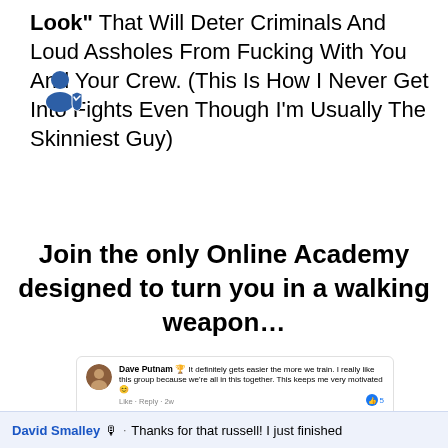Look" That Will Deter Criminals And Loud Assholes From Fucking With You And Your Crew. (This Is How I Never Get Into Fights Even Though I'm Usually The Skinniest Guy)
[Figure (illustration): Blue Facebook-style user avatar icon with a shield]
Join the only Online Academy designed to turn you in a walking weapon…
[Figure (screenshot): Facebook comment by Dave Putnam: 'It definitely gets easier the more we train. I really like this group because we're all in this together. This keeps me very motivated 😊' with Like · Reply · 2w and 5 reactions]
David Smalley 🎙 · Thanks for that russell! I just finished